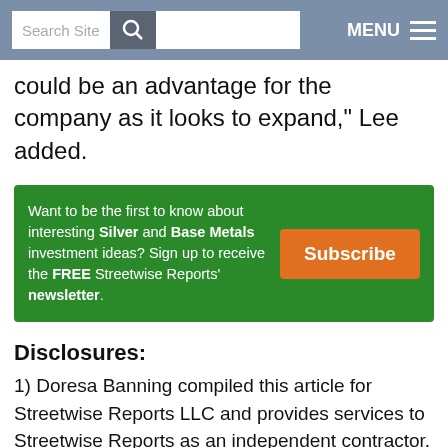Search Site  MENU
could be an advantage for the company as it looks to expand," Lee added.
[Figure (infographic): Green advertisement banner: 'Want to be the first to know about interesting Silver and Base Metals investment ideas? Sign up to receive the FREE Streetwise Reports' newsletter.' with orange Subscribe button]
Disclosures:
1) Doresa Banning compiled this article for Streetwise Reports LLC and provides services to Streetwise Reports as an independent contractor. She or members of her household own securities of the following companies